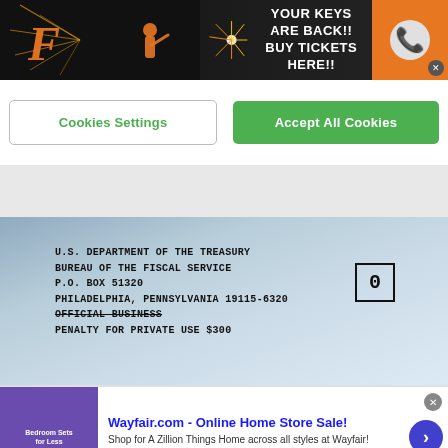[Figure (illustration): Baseball team banner advertisement: 'YOUR KEYS ARE BACK!! BUY TICKETS HERE!!' with player silhouette, fireworks, and baseball. Orange and black color scheme with team logo 'F'.]
Cookies Settings
Accept All Cookies
[Figure (photo): Close-up photo of a U.S. government envelope. Text reads: U.S. DEPARTMENT OF THE TREASURY, BUREAU OF THE FISCAL SERVICE, P.O. BOX 51320, PHILADELPHIA, PENNSYLVANIA 19115-6320, OFFICIAL BUSINESS, PENALTY FOR PRIVATE USE $300. Contains a '0' franking mark box.]
[Figure (illustration): Wayfair.com advertisement: 'Wayfair.com - Online Home Store Sale! Shop for A Zillion Things Home across all styles at Wayfair! www.wayfair.com' with purple bedroom furniture thumbnail and blue arrow button.]